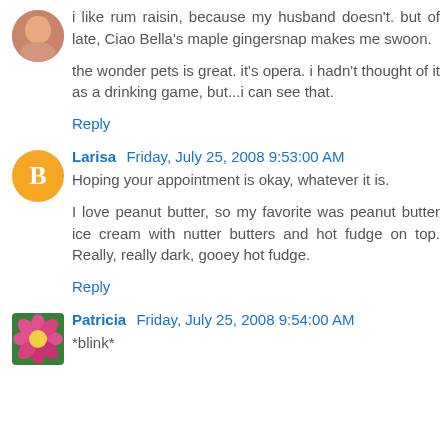i like rum raisin, because my husband doesn't. but of late, Ciao Bella's maple gingersnap makes me swoon.

the wonder pets is great. it's opera. i hadn't thought of it as a drinking game, but...i can see that.
Reply
Larisa  Friday, July 25, 2008 9:53:00 AM
Hoping your appointment is okay, whatever it is.

I love peanut butter, so my favorite was peanut butter ice cream with nutter butters and hot fudge on top. Really, really dark, gooey hot fudge.
Reply
Patricia  Friday, July 25, 2008 9:54:00 AM
*blink*